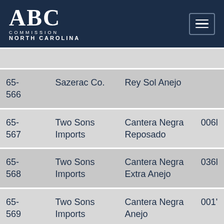[Figure (logo): ABC Commission North Carolina logo in white on dark navy header, with hamburger menu icon on the right]
|  |  |  |  |
| 65-566 | Sazerac Co. | Rey Sol Anejo |  |
| 65-567 | Two Sons Imports | Cantera Negra Reposado | 006l |
| 65-568 | Two Sons Imports | Cantera Negra Extra Anejo | 036l |
| 65-569 | Two Sons Imports | Cantera Negra Anejo | 001' |
| 65- | Two Sons | Cantera Negra |  |